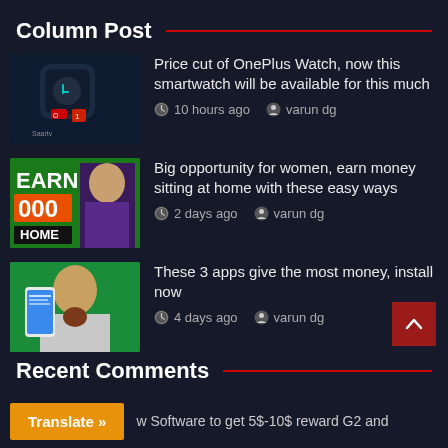Column Post
[Figure (photo): Thumbnail of OnePlus Watch smartwatch product image]
Price cut of OnePlus Watch, now this smartwatch will be available for this much
10 hours ago   varun dg
[Figure (photo): Thumbnail showing EARN 000 HOME text with woman on green background]
Big opportunity for women, earn money sitting at home with these easy ways
2 days ago   varun dg
[Figure (photo): Thumbnail of man with phone on green background]
These 3 apps give the most money, install now
4 days ago   varun dg
Recent Comments
w Software to get 5$-10$ reward G2 and